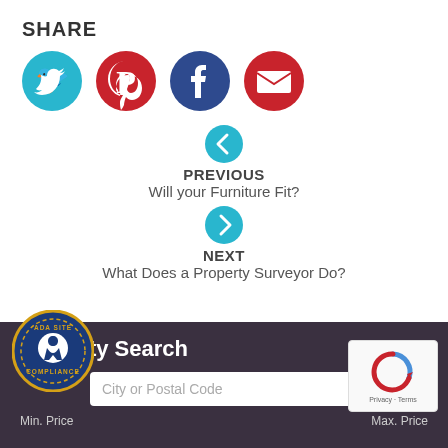SHARE
[Figure (infographic): Four social media share buttons: Twitter (teal), Pinterest (red), Facebook (dark blue), Email (red)]
PREVIOUS
Will your Furniture Fit?
NEXT
What Does a Property Surveyor Do?
Property Search
City or Postal Code
Min. Price
Max. Price